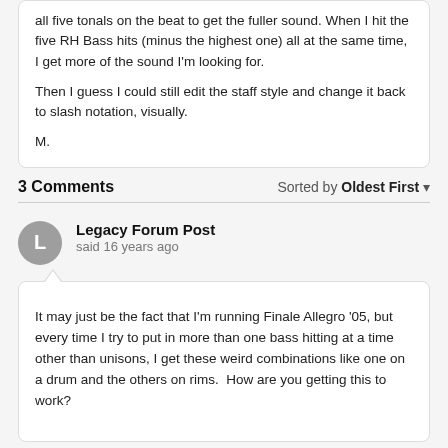all five tonals on the beat to get the fuller sound. When I hit the five RH Bass hits (minus the highest one) all at the same time, I get more of the sound I'm looking for.

Then I guess I could still edit the staff style and change it back to slash notation, visually.

M.
3 Comments
Sorted by Oldest First
Legacy Forum Post
said 16 years ago
It may just be the fact that I'm running Finale Allegro '05, but every time I try to put in more than one bass hitting at a time other than unisons, I get these weird combinations like one on a drum and the others on rims.  How are you getting this to work?